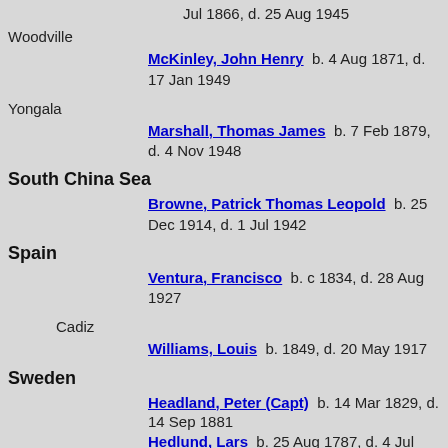Jul 1866, d. 25 Aug 1945
Woodville
McKinley, John Henry  b. 4 Aug 1871, d. 17 Jan 1949
Yongala
Marshall, Thomas James  b. 7 Feb 1879, d. 4 Nov 1948
South China Sea
Browne, Patrick Thomas Leopold  b. 25 Dec 1914, d. 1 Jul 1942
Spain
Ventura, Francisco  b. c 1834, d. 28 Aug 1927
Cadiz
Williams, Louis  b. 1849, d. 20 May 1917
Sweden
Headland, Peter (Capt)  b. 14 Mar 1829, d. 14 Sep 1881
Hedlund, Lars  b. 25 Aug 1787, d. 4 Jul 1842
Ornberg, Greta  b. 18 Feb 1798, d. 20 Feb 1880